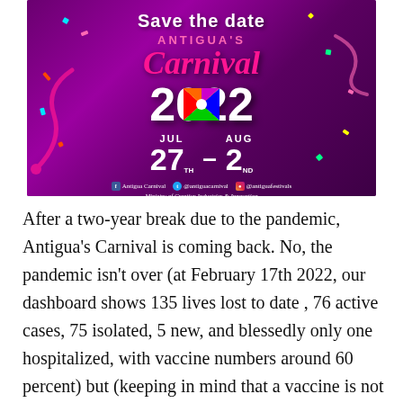[Figure (illustration): Antigua Carnival 2022 promotional poster with purple background, colorful decorative elements, text 'Save the date Antigua's Carnival 2022 JUL 27TH - AUG 2ND', social media handles and Ministry of Creative Industries & Innovation credit.]
After a two-year break due to the pandemic, Antigua's Carnival is coming back. No, the pandemic isn't over (at February 17th 2022, our dashboard shows 135 lives lost to date , 76 active cases, 75 isolated, 5 new, and blessedly only one hospitalized, with vaccine numbers around 60 percent) but (keeping in mind that a vaccine is not a get out of COVID unscathed card, we can still get it